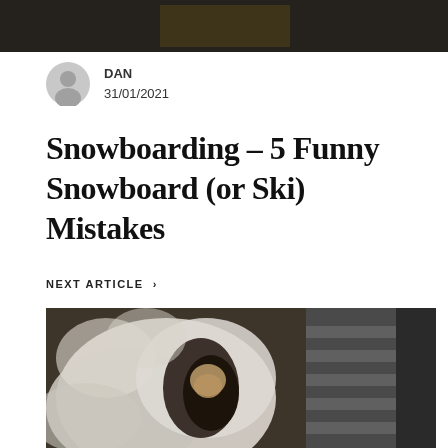[Figure (photo): Dark banner image at top of page]
DAN
31/01/2021
Snowboarding – 5 Funny Snowboard (or Ski) Mistakes
NEXT ARTICLE >
[Figure (photo): Close-up photo of a cat nestled in fluffy white sherpa fabric next to a striped pillow]